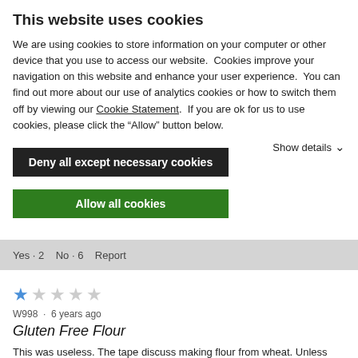This website uses cookies
We are using cookies to store information on your computer or other device that you use to access our website.  Cookies improve your navigation on this website and enhance your user experience.  You can find out more about our use of analytics cookies or how to switch them off by viewing our Cookie Statement.  If you are ok for us to use cookies, please click the “Allow” button below.
Deny all except necessary cookies
Allow all cookies
Show details ⌄
Yes · 2   No · 6   Report
W998 · 6 years ago
Gluten Free Flour
This was useless. The tape discuss making flour from wheat. Unless this was a specialized wheat, it was not useful to a gluten free cook!